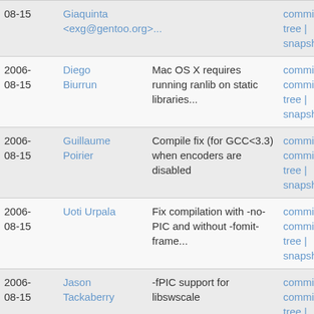| Date | Author | Message | Links |
| --- | --- | --- | --- |
| 2006-08-15 | Giaquinta <exg@gentoo.org>... |  | commitdiff | tree | snapshot |
| 2006-08-15 | Diego Biurrun | Mac OS X requires running ranlib on static libraries... | commit | commitdiff | tree | snapshot |
| 2006-08-15 | Guillaume Poirier | Compile fix (for GCC<3.3) when encoders are disabled | commit | commitdiff | tree | snapshot |
| 2006-08-15 | Uoti Urpala | Fix compilation with -no-PIC and without -fomit-frame... | commit | commitdiff | tree | snapshot |
| 2006-08-15 | Jason Tackaberry | -fPIC support for libswscale | commit | commitdiff | tree | snapshot |
| 2006-08-14 | Luca Barbato | altivec float optimizations | commit | commitdiff | tree | |